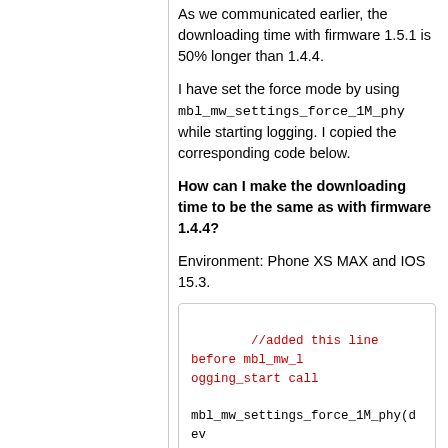As we communicated earlier, the downloading time with firmware 1.5.1 is 50% longer than 1.4.4.
I have set the force mode by using mbl_mw_settings_force_1M_phy while starting logging. I copied the corresponding code below.
How can I make the downloading time to be the same as with firmware 1.4.4?
Environment: Phone XS MAX and IOS 15.3.
[Figure (screenshot): Code block showing: //added this line before mbl_mw_logging_start call, mbl_mw_settings_force_1M_phy(device.board, 1), mbl_mw_acc_set_odr(device.board, selectedFrequencyValue), mbl_mw_acc_bosch_write_acceleration_config(device.board), self.textLog.write("selectedScaleValue \(selectedScale)  selectedFrequencyValue \(selectedFrequencyValue)")]